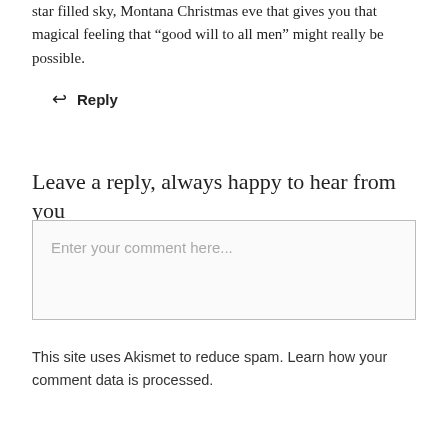star filled sky, Montana Christmas eve that gives you that magical feeling that "good will to all men" might really be possible.
↩ Reply
Leave a reply, always happy to hear from you
Enter your comment here...
This site uses Akismet to reduce spam. Learn how your comment data is processed.